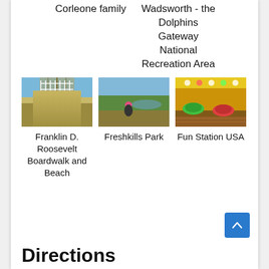Corleone family
Wadsworth - the Dolphins Gateway National Recreation Area
[Figure (photo): Photo of Franklin D. Roosevelt Boardwalk and Beach - a pier/boardwalk extending over water with blue sky]
Franklin D. Roosevelt Boardwalk and Beach
[Figure (photo): Photo of Freshkills Park - a person sitting in a grassy field with a body of water in the background]
Freshkills Park
[Figure (photo): Photo of Fun Station USA - bumper cars in a colorful arcade/amusement center]
Fun Station USA
Directions